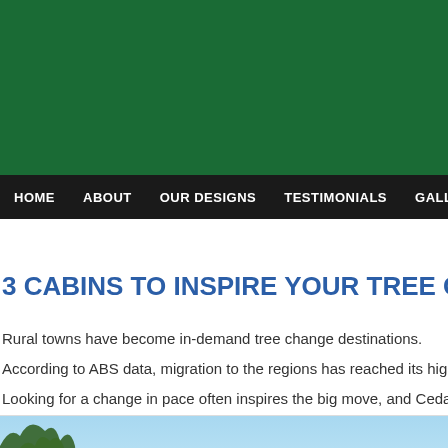[Figure (other): Dark green header banner background]
HOME   ABOUT   OUR DESIGNS   TESTIMONIALS   GALLERY   PR
3 CABINS TO INSPIRE YOUR TREE CHANG
Rural towns have become in-demand tree change destinations.
According to ABS data, migration to the regions has reached its highest record
Looking for a change in pace often inspires the big move, and Cedarspan™ cu
[Figure (photo): Outdoor photo showing blue sky and trees, partially visible at bottom of page]